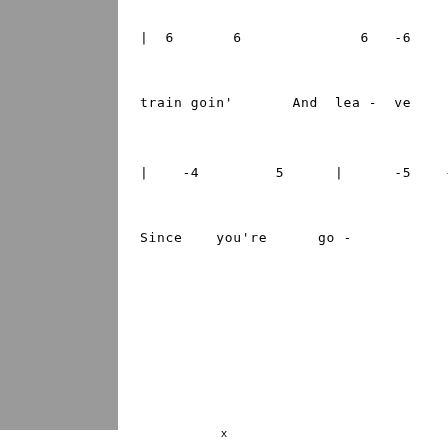[Figure (other): Gray vertical bar on the left side of the page]
| 6       6              6   -6
train goin'       And  lea -  ve
|    -4         5      |      -5    -6
Since    you're      go -
x